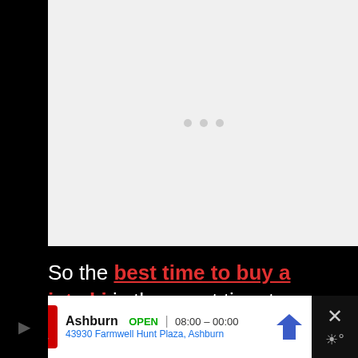[Figure (other): A large light gray placeholder image area with three small gray dots centered in the middle, representing an image loading or an embedded video/content block.]
So the best time to buy a jet ski is the worst time to ride one, but you still get some deals in the summer. For example,
[Figure (other): Advertisement bar for CVS Pharmacy in Ashburn showing OPEN status, hours 08:00–00:00, address 43930 Farmwell Hunt Plaza, Ashburn, with a navigation icon and close button.]